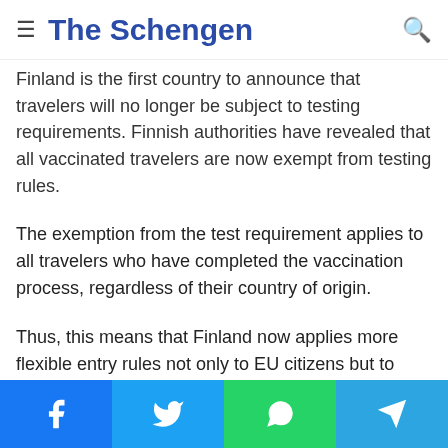The Schengen
Finland is the first country to announce that travelers will no longer be subject to testing requirements. Finnish authorities have revealed that all vaccinated travelers are now exempt from testing rules.
The exemption from the test requirement applies to all travelers who have completed the vaccination process, regardless of their country of origin.
Thus, this means that Finland now applies more flexible entry rules not only to EU citizens but to third-country nationals as well.
On the other hand, travelers who have not been vaccinated ...